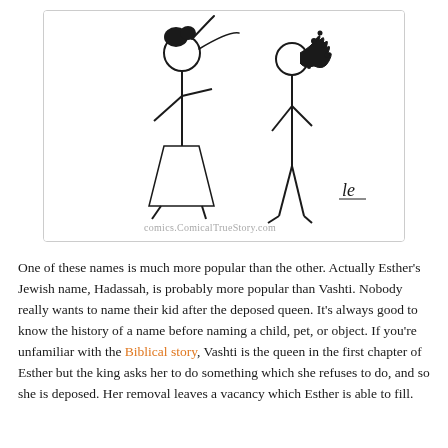[Figure (illustration): Hand-drawn stick figure illustration of two female stick figures facing each other. The left figure has a bun hairstyle and the right figure has curly/wavy hair in a ponytail. They appear to be in conversation. Watermark reads 'comics.ComicalTrueStory.com' and there is an artist signature 'le' in the lower right.]
One of these names is much more popular than the other. Actually Esther's Jewish name, Hadassah, is probably more popular than Vashti. Nobody really wants to name their kid after the deposed queen. It's always good to know the history of a name before naming a child, pet, or object. If you're unfamiliar with the Biblical story, Vashti is the queen in the first chapter of Esther but the king asks her to do something which she refuses to do, and so she is deposed. Her removal leaves a vacancy which Esther is able to fill.